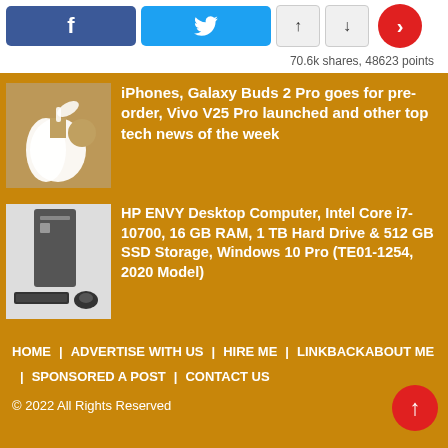[Figure (screenshot): Social share buttons: Facebook (blue), Twitter (blue), up/down arrows, red circle with right arrow]
70.6k shares, 48623 points
[Figure (photo): Apple logo glowing on wooden background]
iPhones, Galaxy Buds 2 Pro goes for pre-order, Vivo V25 Pro launched and other top tech news of the week
[Figure (photo): HP ENVY desktop computer with keyboard and mouse]
HP ENVY Desktop Computer, Intel Core i7-10700, 16 GB RAM, 1 TB Hard Drive & 512 GB SSD Storage, Windows 10 Pro (TE01-1254, 2020 Model)
HOME   ADVERTISE WITH US   HIRE ME   LINKBACK   ABOUT ME   SPONSORED A POST   CONTACT US
© 2022 All Rights Reserved